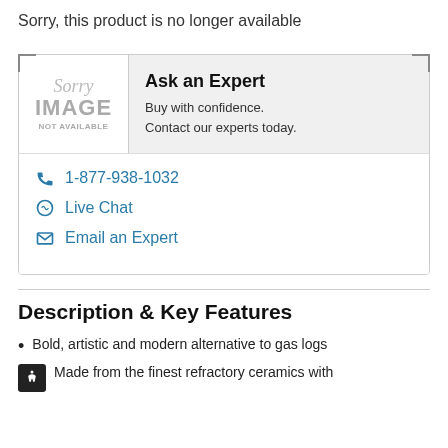Sorry, this product is no longer available
[Figure (other): Sorry Image Not Available placeholder with Ask an Expert panel showing phone, live chat, and email options]
Description & Key Features
Bold, artistic and modern alternative to gas logs
Made from the finest refractory ceramics with...